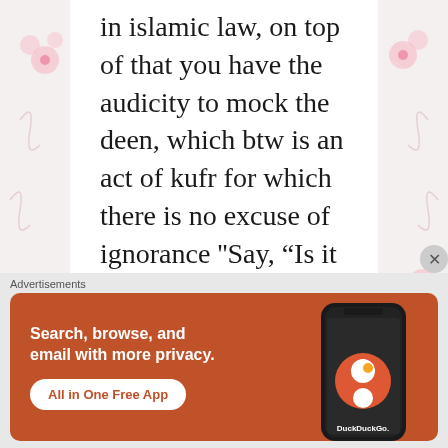in islamic law, on top of that you have the audicity to mock the deen, which btw is an act of kufr for which there is no excuse of ignorance ''Say, “Is it Allah and His verses and His Messenger that
Advertisements
[Figure (other): DuckDuckGo advertisement banner with orange background showing 'Search, browse, and email with more privacy. All in One Free App' text with a phone showing DuckDuckGo app]